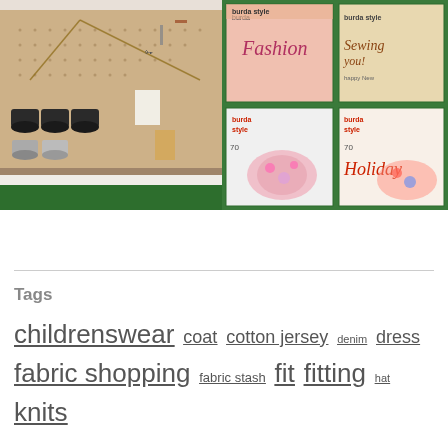[Figure (photo): Pegboard with sewing supplies including thread spools, scissors, rulers, and other sewing tools mounted on a pegboard wall organizer above a green cutting mat]
[Figure (photo): Grid of four Burda Style magazine covers featuring fashion and sewing content with text including 'Fashion', 'Sewing', 'Holiday' and the Burda Style branding]
Tags
childrenswear coat cotton jersey denim dress fabric shopping fabric stash fit fitting hat knits